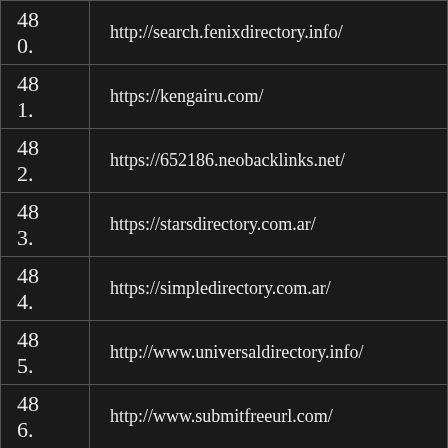| # | URL |
| --- | --- |
| 480. | http://search.fenixdirectory.info/ |
| 481. | https://kengairu.com/ |
| 482. | https://652186.neobacklinks.net/ |
| 483. | https://starsdirectory.com.ar/ |
| 484. | https://simpledirectory.com.ar/ |
| 485. | http://www.universaldirectory.info/ |
| 486. | http://www.submitfreeurl.com/ |